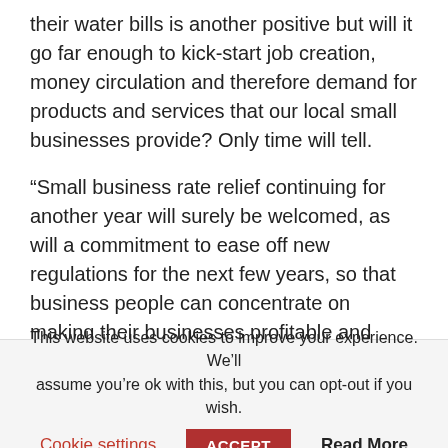their water bills is another positive but will it go far enough to kick-start job creation, money circulation and therefore demand for products and services that our local small businesses provide? Only time will tell.
“Small business rate relief continuing for another year will surely be welcomed, as will a commitment to ease off new regulations for the next few years, so that business people can concentrate on making their businesses profitable and efficient.
“Those who will sail through this difficult period are those who are able to adjust their businesses in response to their
This website uses cookies to improve your experience. We’ll assume you’re ok with this, but you can opt-out if you wish.
Cookie settings | ACCEPT | Read More